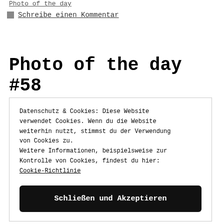Photo of the day
Schreibe einen Kommentar
Photo of the day #58
Datenschutz & Cookies: Diese Website verwendet Cookies. Wenn du die Website weiterhin nutzt, stimmst du der Verwendung von Cookies zu.
Weitere Informationen, beispielsweise zur Kontrolle von Cookies, findest du hier: Cookie-Richtlinie
Schließen und Akzeptieren